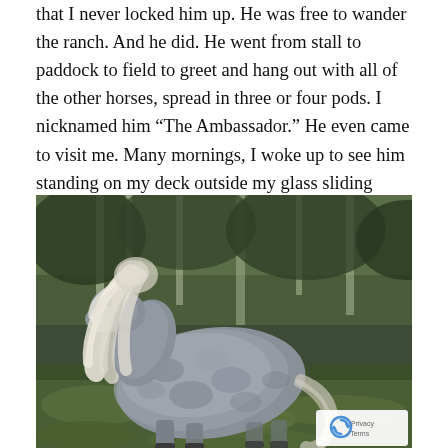that I never locked him up. He was free to wander the ranch. And he did. He went from stall to paddock to field to greet and hang out with all of the other horses, spread in three or four pods. I nicknamed him “The Ambassador.” He even came to visit me. Many mornings, I woke up to see him standing on my deck outside my glass sliding door.
[Figure (photo): A grey/white Shetland pony with a flowing white mane standing on mossy ground with a background of trees and green foliage. A reCAPTCHA privacy badge appears in the bottom-right corner.]